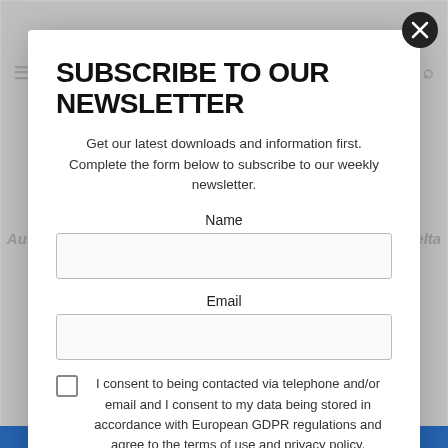SUBSCRIBE TO OUR NEWSLETTER
Get our latest downloads and information first. Complete the form below to subscribe to our weekly newsletter.
Name
Email
I consent to being contacted via telephone and/or email and I consent to my data being stored in accordance with European GDPR regulations and agree to the terms of use and privacy policy.
Submit